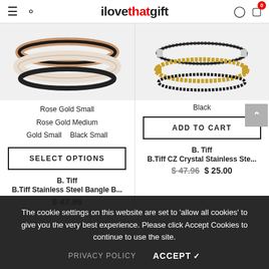ilovethatgift — navigation header with hamburger menu, search, user account, and cart (0 items)
[Figure (photo): Stacked silicone/metal bangle bracelets in rose gold, cream/white, and black colors]
Rose Gold Small
Rose Gold Medium
Gold Small    Black Small
SELECT OPTIONS
[Figure (photo): CZ Crystal stainless steel cable bracelets in black and gold/silver tones]
Black
ADD TO CART
B. Tiff
B.Tiff Stainless Steel Bangle B...
$ 47.96
B. Tiff
B.Tiff CZ Crystal Stainless Ste...
$ 47.96  $ 25.00
The cookie settings on this website are set to 'allow all cookies' to give you the very best experience. Please click Accept Cookies to continue to use the site.
PRIVACY POLICY    ACCEPT ✓